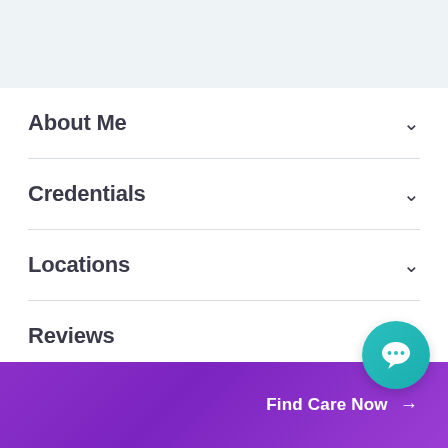[Figure (other): Top banner with light blue-grey background]
About Me
Credentials
Locations
Reviews
[Figure (illustration): Teal circular chat bubble icon with ellipsis]
Find Care Now →